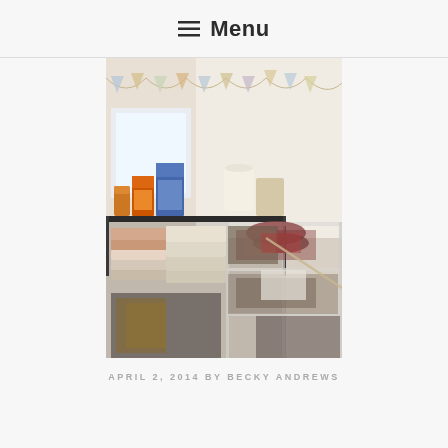≡ Menu
[Figure (photo): Interior room photo showing metal shelving units with food items (cereal boxes, canned goods) on upper shelf, folded towels and linens on lower shelves, and various clothing/blankets piled on a wire rack to the right. Decorative paper bunting hangs near the top of the white walls near a window.]
APRIL 2, 2014 BY BECKY ANDREWS